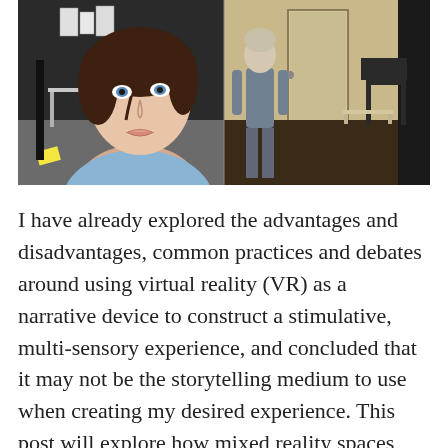[Figure (illustration): Side-by-side image: left half shows a hand-drawn cartoon illustration of a woman with brown hair and blue eyes wearing a blue top, standing in a dark room with a desk, plant, and papers on the wall. Right half shows a photorealistic room scene with a grey humanoid avatar/figure standing near a door, with a chair and table visible.]
I have already explored the advantages and disadvantages, common practices and debates around using virtual reality (VR) as a narrative device to construct a stimulative, multi-sensory experience, and concluded that it may not be the storytelling medium to use when creating my desired experience. This post will explore how mixed reality spaces can be used